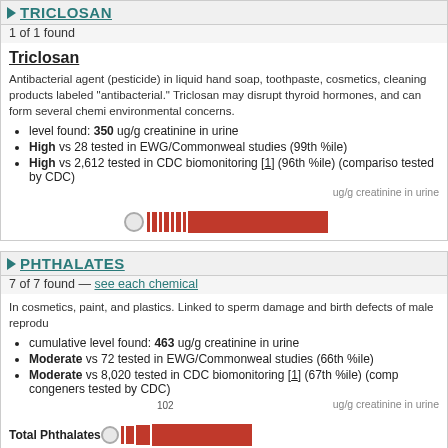TRICLOSAN
1 of 1 found
Triclosan
Antibacterial agent (pesticide) in liquid hand soap, toothpaste, cosmetics, cleaning products labeled "antibacterial." Triclosan may disrupt thyroid hormones, and can form several chemi environmental concerns.
level found: 350 ug/g creatinine in urine
High vs 28 tested in EWG/Commonweal studies (99th %ile)
High vs 2,612 tested in CDC biomonitoring [1] (96th %ile) (comparison tested by CDC)
[Figure (bar-chart): Triclosan level]
PHTHALATES
7 of 7 found — see each chemical
In cosmetics, paint, and plastics. Linked to sperm damage and birth defects of male reprod
cumulative level found: 463 ug/g creatinine in urine
Moderate vs 72 tested in EWG/Commonweal studies (66th %ile)
Moderate vs 8,020 tested in CDC biomonitoring [1] (67th %ile) (comp congeners tested by CDC)
[Figure (bar-chart): Total Phthalates]
Total Phthalates